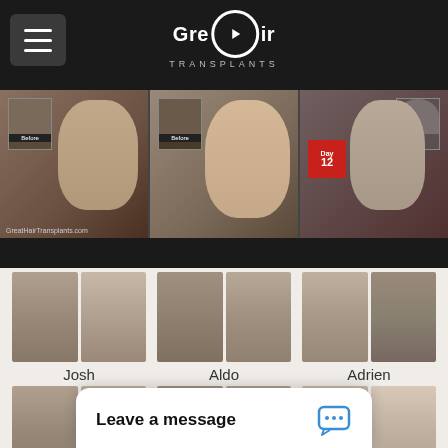Great Hair Transplants
[Figure (screenshot): Video thumbnails showing three hair transplant patient video testimonials: man with 'Before' photo inset, man being interviewed with 'Before' photo, man with 'Day 12' sign and bald photo inset]
[Figure (photo): Before/after photos of patient Josh - hair transplant results]
Josh
[Figure (photo): Before/after photos of patient Aldo - hair transplant results]
Aldo
[Figure (photo): Before/after photos of patient Adrien - hair transplant results]
Adrien
[Figure (photo): Before/after photos of Patient p81 - hair transplant results]
Patient p81
[Figure (photo): Before/after photos of unnamed patient - hair transplant results]
[Figure (photo): Before/after photos of unnamed patient - hair transplant results]
Leave a message